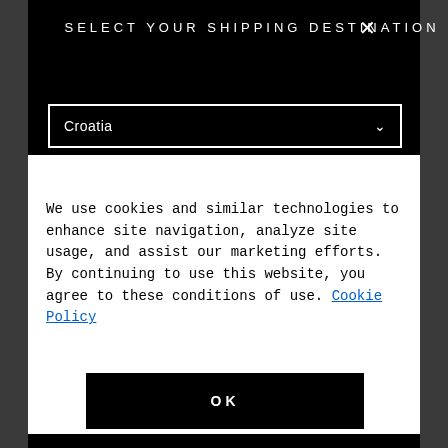SELECT YOUR SHIPPING DESTINATION
Croatia
We use cookies and similar technologies to enhance site navigation, analyze site usage, and assist our marketing efforts. By continuing to use this website, you agree to these conditions of use. Cookie Policy
OK
Cookies Settings